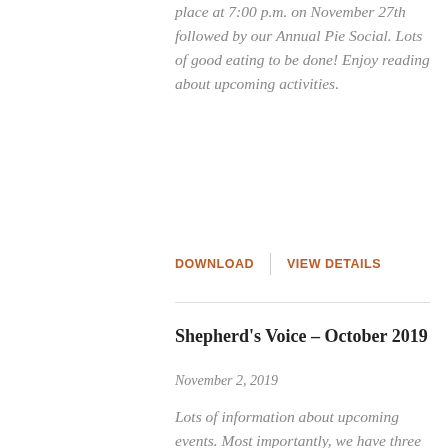place at 7:00 p.m. on November 27th followed by our Annual Pie Social. Lots of good eating to be done! Enjoy reading about upcoming activities.
DOWNLOAD   VIEW DETAILS
Shepherd's Voice – October 2019
November 2, 2019
Lots of information about upcoming events. Most importantly, we have three Town Hall Meetings coming up beginning October 27th to discuss how we will move forward with our Gospel Fund dollars to bless the ministries in our community. Also, there is news about our upcoming Trunk or Treat